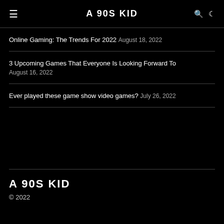A 90S KID
Online Gaming: The Trends For 2022 August 18, 2022
3 Upcoming Games That Everyone Is Looking Forward To August 16, 2022
Ever played these game show video games? July 26, 2022
A 90S KID © 2022